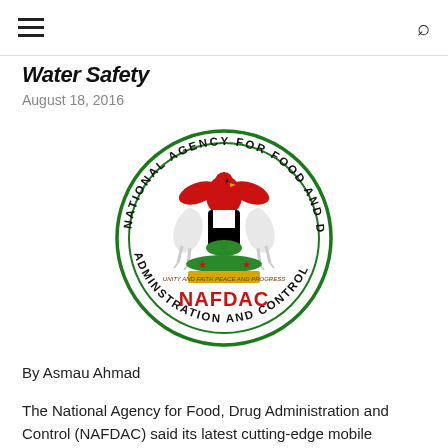Water Safety
August 18, 2016
[Figure (logo): NAFDAC logo — National Agency for Food and Drug Administration and Control circular seal with eagle, horses, and shield]
By Asmau Ahmad
The National Agency for Food, Drug Administration and Control (NAFDAC) said its latest cutting-edge mobile